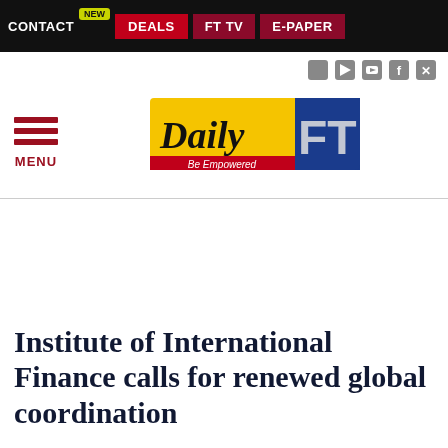CONTACT  NEW  DEALS  FT TV  E-PAPER
[Figure (logo): Daily FT logo — yellow/blue background with 'Daily FT Be Empowered' text]
Institute of International Finance calls for renewed global coordination